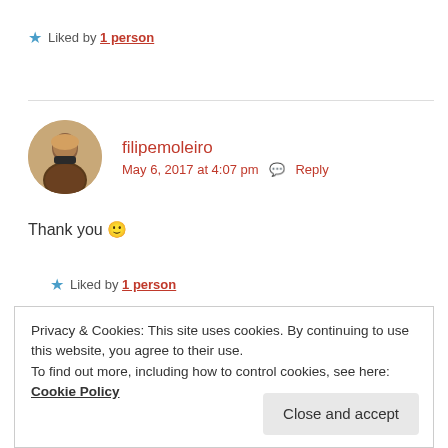★ Liked by 1 person
filipemoleiro
May 6, 2017 at 4:07 pm  ✉ Reply
Thank you 🙂
★ Liked by 1 person
Privacy & Cookies: This site uses cookies. By continuing to use this website, you agree to their use.
To find out more, including how to control cookies, see here: Cookie Policy
Close and accept